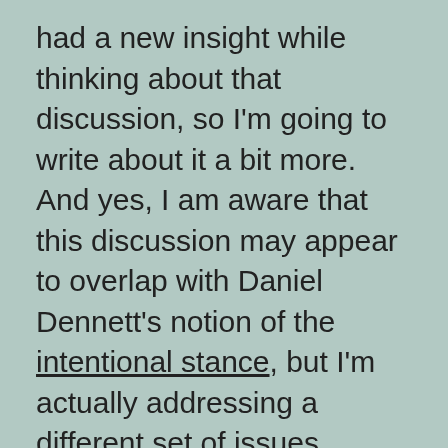had a new insight while thinking about that discussion, so I'm going to write about it a bit more. And yes, I am aware that this discussion may appear to overlap with Daniel Dennett's notion of the intentional stance, but I'm actually addressing a different set of issues.

For historical background, see Wikipedia on telos or final cause.

To understand why teleology matters, it helps to remember that human beings are prone to project intentions on everything. We are animists by instinct. Our religions and our